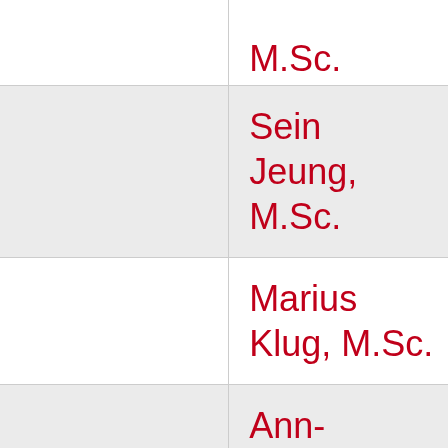| Name | KW / N |
| --- | --- |
| M.Sc. | KW
N |
| Sein Jeung, M.Sc. | KW
N |
| Marius Klug, M.Sc. | KW
N |
| Ann-Kathrin Otto, M.Sc. | KW
N |
| Guilherme Sanches de Oliveira, PhD | KW
N |